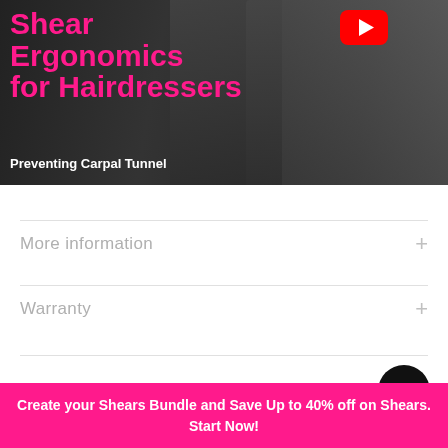[Figure (screenshot): YouTube video thumbnail for 'Shear Ergonomics for Hairdressers - Preventing Carpal Tunnel' with bold pink title text on dark background, YouTube play button icon visible]
More information +
Warranty +
Create your Shears Bundle and Save Up to 40% off on Shears. Start Now!